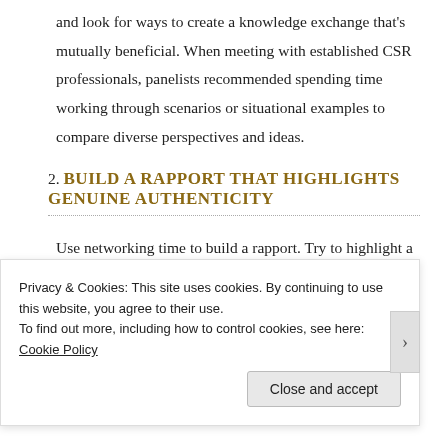and look for ways to create a knowledge exchange that's mutually beneficial. When meeting with established CSR professionals, panelists recommended spending time working through scenarios or situational examples to compare diverse perspectives and ideas.
2. Build a rapport that highlights genuine authenticity
Use networking time to build a rapport. Try to highlight a deep understanding about social issues, examples of continuous adaptation, or the ability to synthesize complex information in a way that can be
Privacy & Cookies: This site uses cookies. By continuing to use this website, you agree to their use.
To find out more, including how to control cookies, see here: Cookie Policy
Close and accept